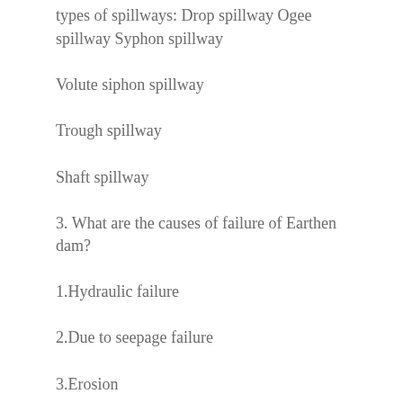types of spillways: Drop spillway Ogee spillway Syphon spillway
Volute siphon spillway
Trough spillway
Shaft spillway
3. What are the causes of failure of Earthen dam?
1.Hydraulic failure
2.Due to seepage failure
3.Erosion